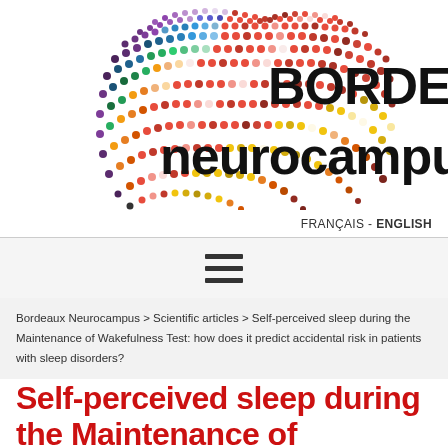[Figure (logo): Bordeaux Neurocampus logo with colorful dot-pattern cloud shape and text 'BORDEAUX neurocampus']
FRANÇAIS - ENGLISH
[Figure (other): Hamburger menu icon with three horizontal bars]
Bordeaux Neurocampus > Scientific articles > Self-perceived sleep during the Maintenance of Wakefulness Test: how does it predict accidental risk in patients with sleep disorders?
Self-perceived sleep during the Maintenance of